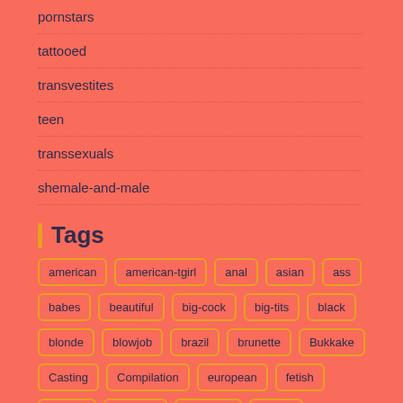pornstars
tattooed
transvestites
teen
transsexuals
shemale-and-male
Tags
american
american-tgirl
anal
asian
ass
babes
beautiful
big-cock
big-tits
black
blonde
blowjob
brazil
brunette
Bukkake
Casting
Compilation
european
fetish
fucking
glamour
hardcore
heshe
interracial
Italian
japanese
katboys
ladyboy
latina